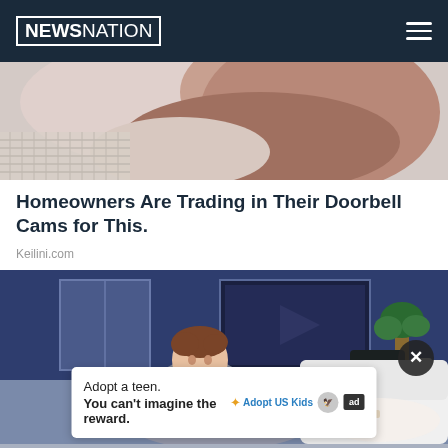NEWSNATION
[Figure (photo): Close-up photo of a dog or animal, showing fur and a woven basket or mat background, cropped at top]
Homeowners Are Trading in Their Doorbell Cams for This.
Keilini.com
[Figure (illustration): Illustrated scene of a person waking up in bed with a clock showing 01:37, plants and a TV in the background; partially overlaid by a white ad card and a close X button]
Adopt a teen.
You can't imagine the reward.